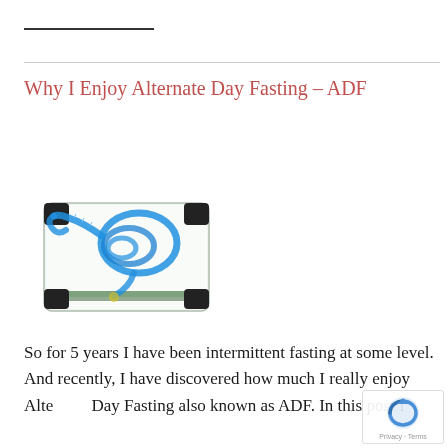Why I Enjoy Alternate Day Fasting – ADF
[Figure (photo): A glass bathroom scale with a blue measuring tape coiled on top of it, shot on white background.]
So for 5 years I have been intermittent fasting at some level. And recently, I have discovered how much I really enjoy Alternate Day Fasting also known as ADF. In this post I